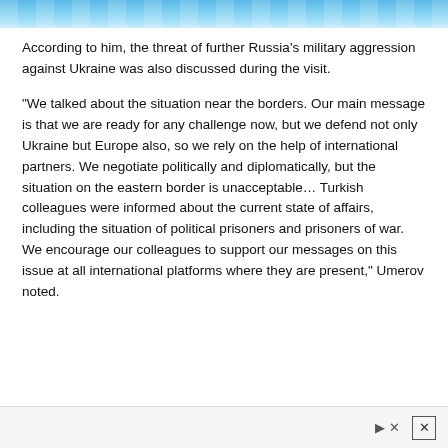[Figure (photo): Top portion of an image with blue tones, likely a sky or water surface with light reflections]
According to him, the threat of further Russia's military aggression against Ukraine was also discussed during the visit.
"We talked about the situation near the borders. Our main message is that we are ready for any challenge now, but we defend not only Ukraine but Europe also, so we rely on the help of international partners. We negotiate politically and diplomatically, but the situation on the eastern border is unacceptable… Turkish colleagues were informed about the current state of affairs, including the situation of political prisoners and prisoners of war. We encourage our colleagues to support our messages on this issue at all international platforms where they are present," Umerov noted.
Advertisement close button and ad control icons